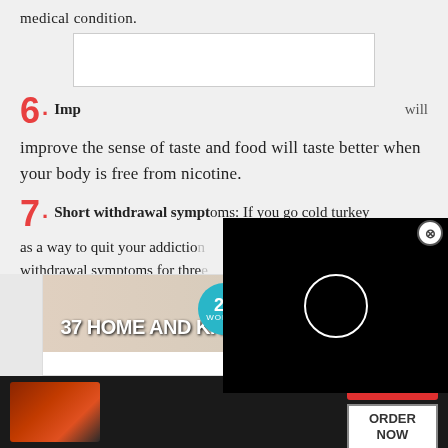medical condition.
6. Improve the sense of taste and food will taste better when your body is free from nicotine.
7. Short withdrawal symptoms: If you go cold turkey as a way to quit your addiction, you will only experience withdrawal symptoms for three...
[Figure (screenshot): Black video player overlay with loading circle spinner and close button]
[Figure (screenshot): Advertisement banner: 22 Words - 37 Home and Kitchen items with CLOSE button]
[Figure (screenshot): Seamless food delivery advertisement with pizza image, ORDER NOW button]